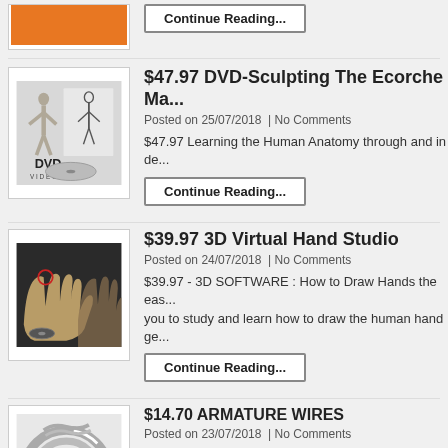[Figure (photo): Orange colored thumbnail image at top]
Continue Reading...
[Figure (photo): DVD product image for Sculpting The Ecorche Man]
$47.97 DVD-Sculpting The Ecorche Ma...
Posted on 25/07/2018  | No Comments
$47.97 Learning the Human Anatomy through and in de...
Continue Reading...
[Figure (photo): 3D hand illustration for 3D Virtual Hand Studio]
$39.97 3D Virtual Hand Studio
Posted on 24/07/2018  | No Comments
$39.97 - 3D SOFTWARE : How to Draw Hands the eas... you to study and learn how to draw the human hand ge...
Continue Reading...
[Figure (photo): Armature wire coils]
$14.70 ARMATURE WIRES
Posted on 23/07/2018  | No Comments
Strong Armature Wires for Sculpting. Very strong yet p... strengthen sculptures. Functions like [...]